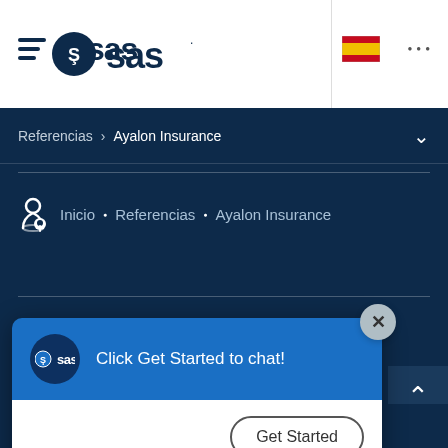[Figure (screenshot): SAS website header with hamburger menu, SAS logo, Spanish flag icon, and dots menu]
Referencias > Ayalon Insurance
Inicio • Referencias • Ayalon Insurance
[Figure (screenshot): SAS chat popup widget with 'Click Get Started to chat!' message and 'Get Started' button]
La curiosidad es nuestro código. Las soluciones analíticas de SAS transforman los datos en inteligencia, inspirando a clientes de
[Figure (infographic): Social media icons: Facebook, Twitter, LinkedIn]